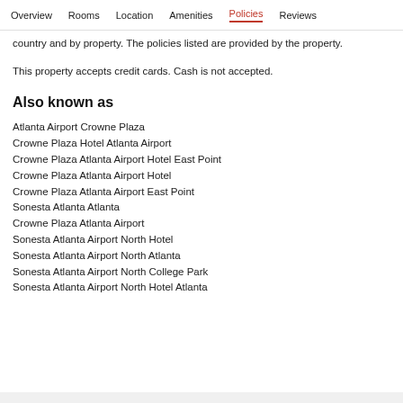Overview   Rooms   Location   Amenities   Policies   Reviews
country and by property. The policies listed are provided by the property.
This property accepts credit cards. Cash is not accepted.
Also known as
Atlanta Airport Crowne Plaza
Crowne Plaza Hotel Atlanta Airport
Crowne Plaza Atlanta Airport Hotel East Point
Crowne Plaza Atlanta Airport Hotel
Crowne Plaza Atlanta Airport East Point
Sonesta Atlanta Atlanta
Crowne Plaza Atlanta Airport
Sonesta Atlanta Airport North Hotel
Sonesta Atlanta Airport North Atlanta
Sonesta Atlanta Airport North College Park
Sonesta Atlanta Airport North Hotel Atlanta